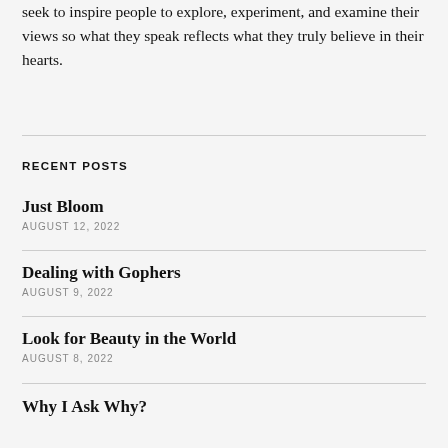seek to inspire people to explore, experiment, and examine their views so what they speak reflects what they truly believe in their hearts.
RECENT POSTS
Just Bloom
AUGUST 12, 2022
Dealing with Gophers
AUGUST 9, 2022
Look for Beauty in the World
AUGUST 8, 2022
Why I Ask Why?